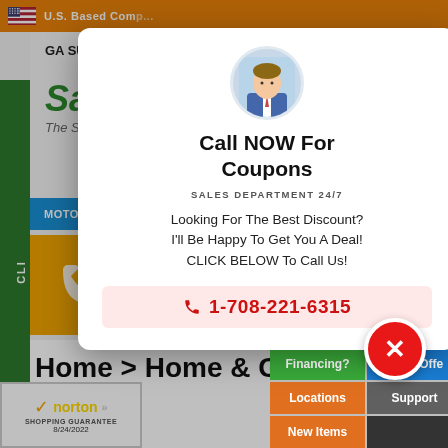[Figure (screenshot): Website screenshot showing SaferWholesale.com with orange top bar, green MEGA SUPER SALE banner, Safer logo, blue navigation bar with MOTORSPORTS and HOME tabs, orange phone icon box, and breadcrumb Home > Home & Garden]
[Figure (infographic): Popup overlay with circular avatar photo of a man in a suit, bold headline Call NOW For Coupons, SALES DEPARTMENT 24/7, body text about discounts, and red phone number 1-708-221-6315 with close X button]
Call NOW For Coupons
SALES DEPARTMENT 24/7
Looking For The Best Discount? I'll Be Happy To Get You A Deal! CLICK BELOW To Call Us!
1-708-221-6315
Home > Home & Garden
10' x
Financing?
Make Offer
Locations
Support
New Items
[Figure (logo): Norton Shopping Guarantee badge with checkmark, dated 8/24/2022]